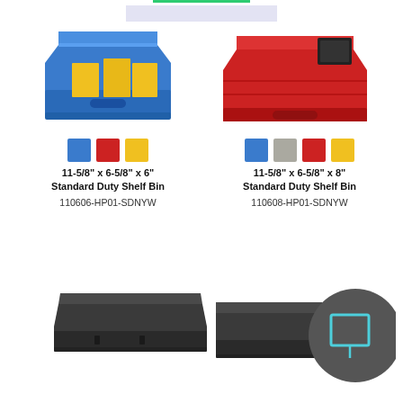[Figure (photo): Blue plastic standard duty shelf bin with yellow dividers inside]
[Figure (photo): Red plastic standard duty shelf bin with black label holder]
[Figure (other): Color swatches: blue, red, yellow]
[Figure (other): Color swatches: blue, grey, red, yellow]
11-5/8" x 6-5/8" x 6"
Standard Duty Shelf Bin
11-5/8" x 6-5/8" x 8"
Standard Duty Shelf Bin
110606-HP01-SDNYW
110608-HP01-SDNYW
[Figure (photo): Dark grey/black elongated plastic shelf bin]
[Figure (photo): Dark grey/black elongated plastic shelf bin with cyan zoom indicator circle overlay]